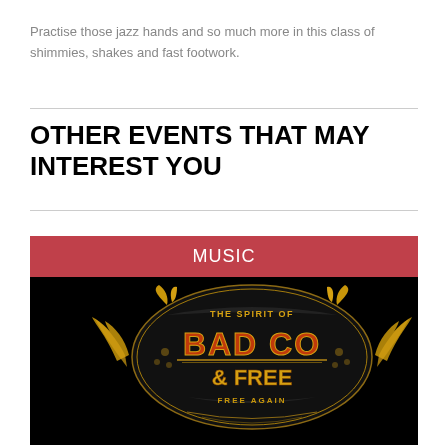Practise those jazz hands and so much more in this class of shimmies, shakes and fast footwork.
OTHER EVENTS THAT MAY INTEREST YOU
[Figure (infographic): Music event card with red MUSIC label banner and a promotional image for 'The Spirit of Bad Co & Free - Free Again' tribute band on black background with golden ornate logo design]